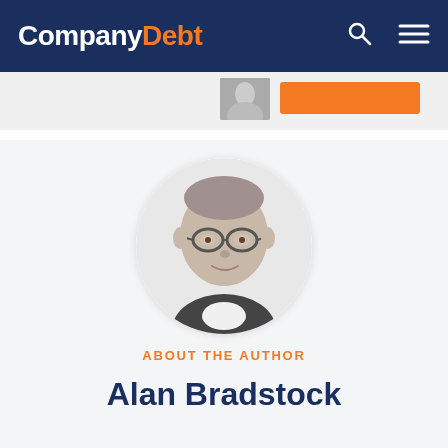CompanyDebt
[Figure (photo): Circular black and white headshot photo of Alan Bradstock, a middle-aged man wearing round glasses and a dark blazer]
ABOUT THE AUTHOR
Alan Bradstock